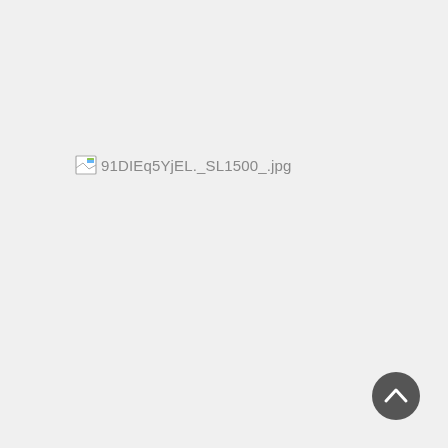[Figure (other): Broken image placeholder showing filename '91DIEq5YjEL._SL1500_.jpg' with a small broken image icon to the left of the text]
[Figure (other): Dark circular back-to-top button with an upward chevron arrow, positioned in the bottom-right corner]